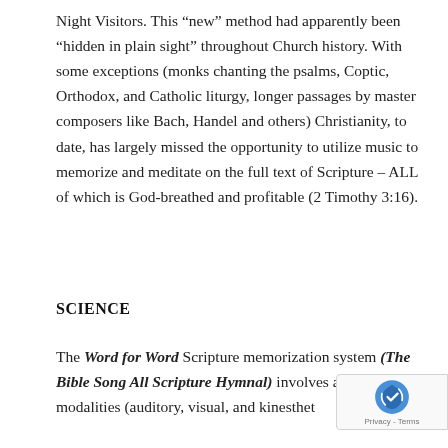Night Visitors. This “new” method had apparently been “hidden in plain sight” throughout Church history. With some exceptions (monks chanting the psalms, Coptic, Orthodox, and Catholic liturgy, longer passages by master composers like Bach, Handel and others) Christianity, to date, has largely missed the opportunity to utilize music to memorize and meditate on the full text of Scripture – ALL of which is God-breathed and profitable (2 Timothy 3:16).
SCIENCE
The Word for Word Scripture memorization system (The Bible Song All Scripture Hymnal) involves all learning modalities (auditory, visual, and kinesthet...